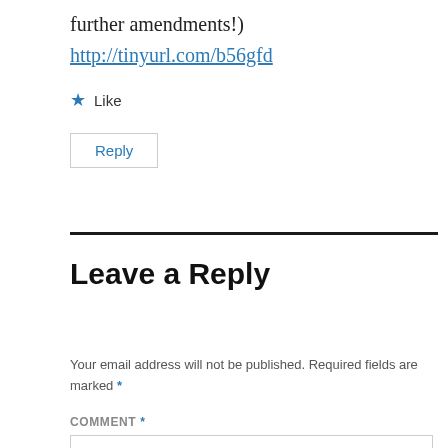further amendments!)
http://tinyurl.com/b56gfd
★ Like
Reply
Leave a Reply
Your email address will not be published. Required fields are marked *
COMMENT *